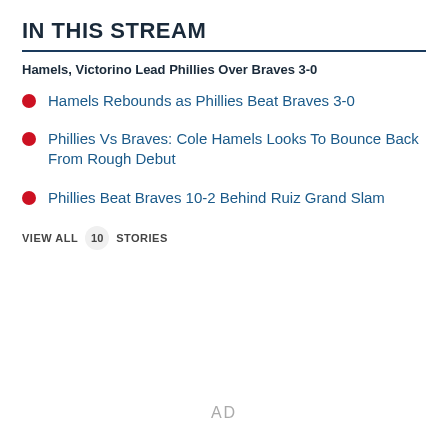IN THIS STREAM
Hamels, Victorino Lead Phillies Over Braves 3-0
Hamels Rebounds as Phillies Beat Braves 3-0
Phillies Vs Braves: Cole Hamels Looks To Bounce Back From Rough Debut
Phillies Beat Braves 10-2 Behind Ruiz Grand Slam
VIEW ALL 10 STORIES
AD